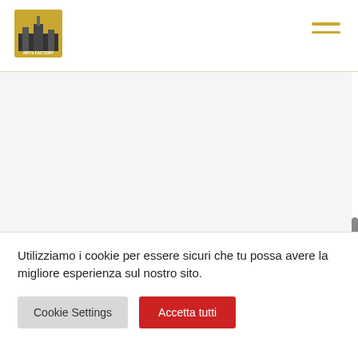Arts Factory logo and navigation menu
[Figure (screenshot): Main content area of Arts Factory website — blank/white content region with a grey scrollbar on the right side]
Utilizziamo i cookie per essere sicuri che tu possa avere la migliore esperienza sul nostro sito.
Cookie Settings  Accetta tutti